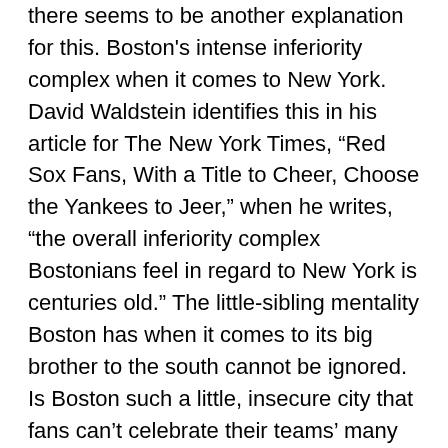there seems to be another explanation for this. Boston's intense inferiority complex when it comes to New York. David Waldstein identifies this in his article for The New York Times, “Red Sox Fans, With a Title to Cheer, Choose the Yankees to Jeer,” when he writes, “the overall inferiority complex Bostonians feel in regard to New York is centuries old.” The little-sibling mentality Boston has when it comes to its big brother to the south cannot be ignored. Is Boston such a little, insecure city that fans can’t celebrate their teams’ many successes without comparing them to New York? Does thinking about New York City make victory sweeter? If it does, that’s pitiful. Boston fans should enjoy their team’s accomplishments for the genuine pride and joy of winning, not because of a toxic rivalry.